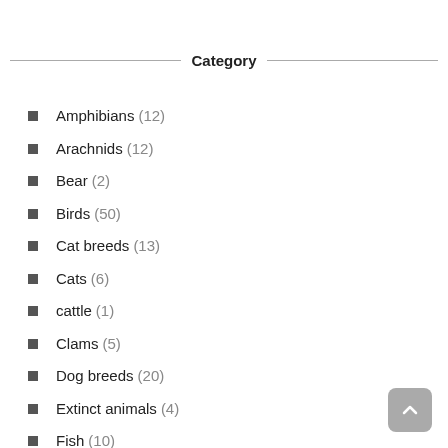Category
Amphibians (12)
Arachnids (12)
Bear (2)
Birds (50)
Cat breeds (13)
Cats (6)
cattle (1)
Clams (5)
Dog breeds (20)
Extinct animals (4)
Fish (10)